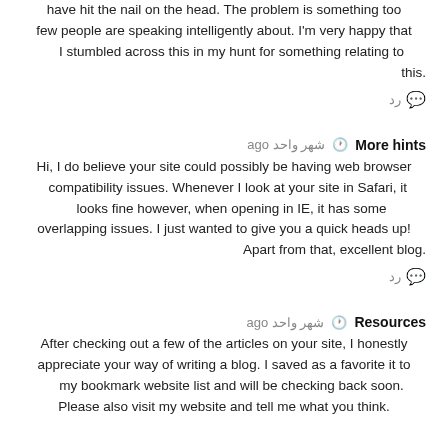have hit the nail on the head. The problem is something too few people are speaking intelligently about. I'm very happy that I stumbled across this in my hunt for something relating to this.
رد 💬
More hints  🕐 شهر واحد ago
Hi, I do believe your site could possibly be having web browser compatibility issues. Whenever I look at your site in Safari, it looks fine however, when opening in IE, it has some overlapping issues. I just wanted to give you a quick heads up! Apart from that, excellent blog.
رد 💬
Resources  🕐 شهر واحد ago
After checking out a few of the articles on your site, I honestly appreciate your way of writing a blog. I saved as a favorite it to my bookmark website list and will be checking back soon. Please also visit my website and tell me what you think.